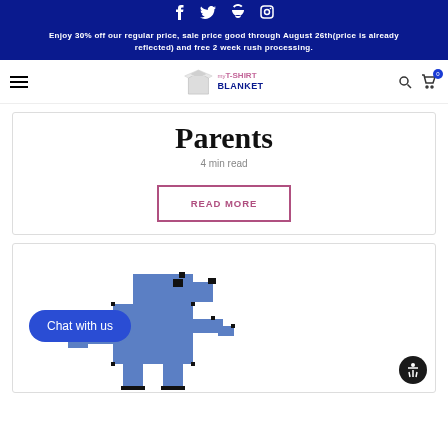Social media icons: Facebook, Twitter, Pinterest, Instagram
Enjoy 30% off our regular price, sale price good through August 26th(price is already reflected) and free 2 week rush processing.
[Figure (logo): My T-Shirt Blanket logo with shirt icon]
Parents
4 min read
READ MORE
[Figure (illustration): Pixel art blue dinosaur or creature on white background, with Chat with us button overlay]